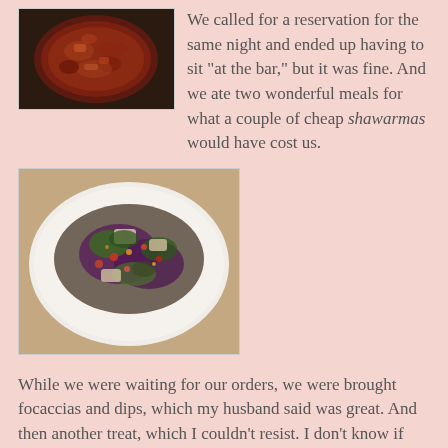[Figure (photo): Photo of a dark red sauce or stew in a round bowl, seen from above on a dark surface]
We called for a reservation for the same night and ended up having to sit "at the bar," but it was fine. And we ate two wonderful meals for what a couple of cheap shawarmas would have cost us.
[Figure (photo): Photo of a colorful salad or dish on a white plate, featuring dark leafy greens, purple cabbage, and various colorful toppings]
While we were waiting for our orders, we were brought focaccias and dips, which my husband said was great. And then another treat, which I couldn't resist. I don't know if they add food for everyone or were we just lucky. Or did they feel sorry for us sitting at the bar. Or was it because we had